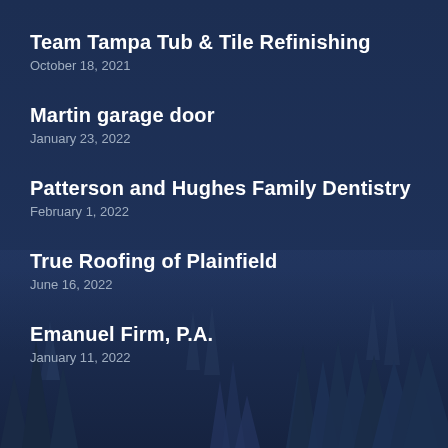Team Tampa Tub & Tile Refinishing
October 18, 2021
Martin garage door
January 23, 2022
Patterson and Hughes Family Dentistry
February 1, 2022
True Roofing of Plainfield
June 16, 2022
Emanuel Firm, P.A.
January 11, 2022